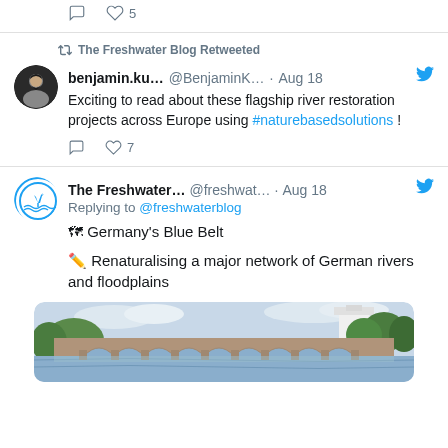5 (like count)
The Freshwater Blog Retweeted
benjamin.ku... @BenjaminK... · Aug 18
Exciting to read about these flagship river restoration projects across Europe using #naturebasedsolutions !
♡ 7
The Freshwater... @freshwat... · Aug 18
Replying to @freshwaterblog
🗺 Germany's Blue Belt
✏️ Renaturalising a major network of German rivers and floodplains
[Figure (photo): Photograph of a stone arch bridge over a calm river, with green trees and a white tower-like building in the background.]